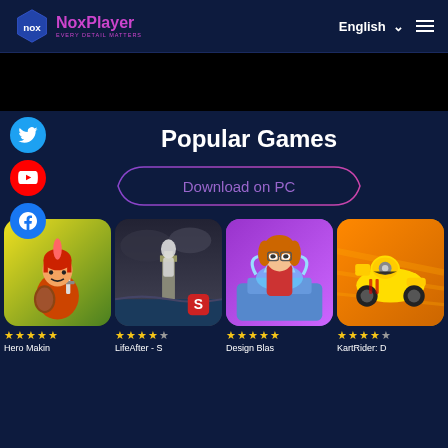[Figure (logo): NoxPlayer logo with hexagon icon and tagline EVERY DETAIL MATTERS]
[Figure (screenshot): Black banner/advertisement area]
[Figure (infographic): Social media icons: Twitter (blue), YouTube (red), Facebook (blue) as circular buttons on left side]
Popular Games
[Figure (other): Download on PC button with gradient purple border]
[Figure (screenshot): Hero Makin game thumbnail - warrior character with sword]
[Figure (screenshot): LifeAfter - S game thumbnail - dark atmospheric lighthouse scene]
[Figure (screenshot): Design Blas game thumbnail - girl with water splash]
[Figure (screenshot): KartRider: D game thumbnail - yellow kart racer]
Hero Makin
LifeAfter - S
Design Blas
KartRider: D